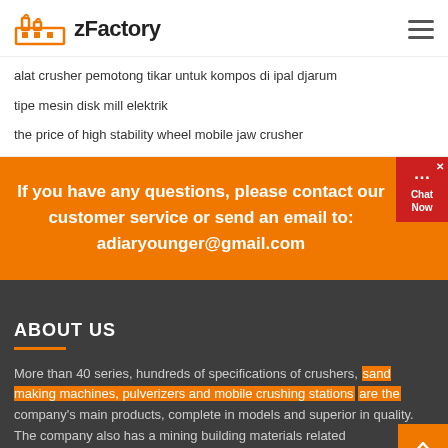zFactory
alat crusher pemotong tikar untuk kompos di ipal djarum
tipe mesin disk mill elektrik
the price of high stability wheel mobile jaw crusher
If you have any questions, please contact our customer service or send an email to: adiaryounger@gmail.com
ABOUT US
More than 40 series, hundreds of specifications of crushers, sand making machines, pulverizers and mobile crushing stations are the company's main products, complete in models and superior in quality. The company also has a mining building materials related...